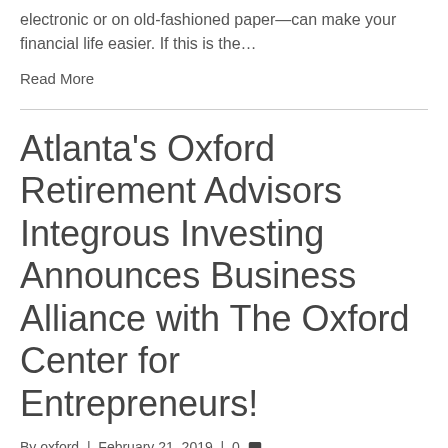electronic or on old-fashioned paper—can make your financial life easier. If this is the…
Read More
Atlanta's Oxford Retirement Advisors Integrous Investing Announces Business Alliance with The Oxford Center for Entrepreneurs!
By oxford | February 21, 2019 | 0